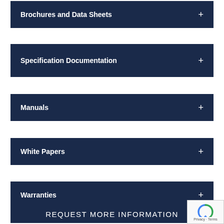Brochures and Data Sheets
Specification Documentation
Manuals
White Papers
Warranties
REQUEST MORE INFORMATION